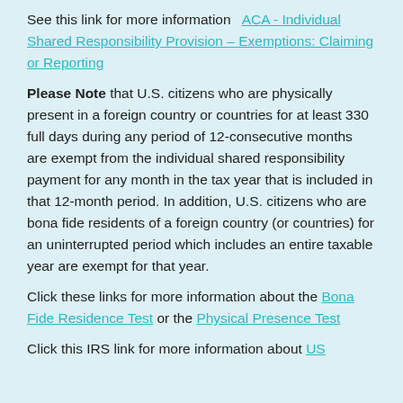See this link for more information   ACA - Individual Shared Responsibility Provision – Exemptions: Claiming or Reporting
Please Note that U.S. citizens who are physically present in a foreign country or countries for at least 330 full days during any period of 12-consecutive months are exempt from the individual shared responsibility payment for any month in the tax year that is included in that 12-month period. In addition, U.S. citizens who are bona fide residents of a foreign country (or countries) for an uninterrupted period which includes an entire taxable year are exempt for that year.
Click these links for more information about the Bona Fide Residence Test or the Physical Presence Test
Click this IRS link for more information about US